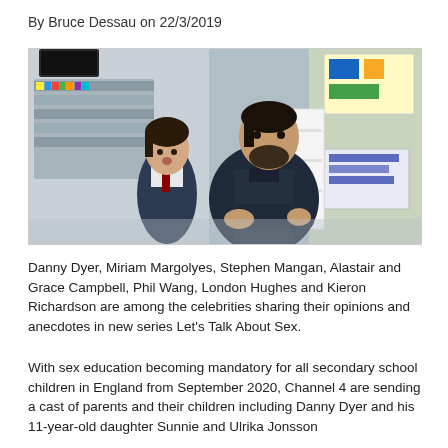By Bruce Dessau on 22/3/2019
[Figure (photo): A young girl in school uniform with a tie and a man in a dark jacket sitting together in what appears to be a school library or classroom setting.]
Danny Dyer, Miriam Margolyes, Stephen Mangan, Alastair and Grace Campbell, Phil Wang, London Hughes and Kieron Richardson are among the celebrities sharing their opinions and anecdotes in new series Let's Talk About Sex.
With sex education becoming mandatory for all secondary school children in England from September 2020, Channel 4 are sending a cast of parents and their children including Danny Dyer and his 11-year-old daughter Sunnie and Ulrika Jonsson